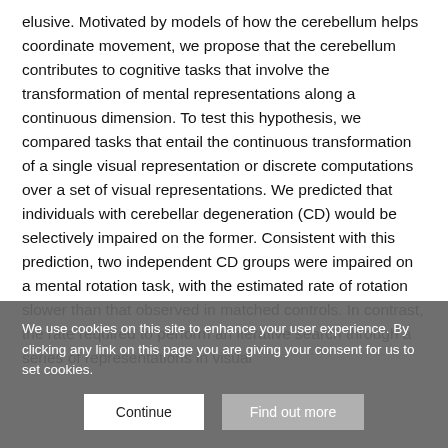elusive. Motivated by models of how the cerebellum helps coordinate movement, we propose that the cerebellum contributes to cognitive tasks that involve the transformation of mental representations along a continuous dimension. To test this hypothesis, we compared tasks that entail the continuous transformation of a single visual representation or discrete computations over a set of visual representations. We predicted that individuals with cerebellar degeneration (CD) would be selectively impaired on the former. Consistent with this prediction, two independent CD groups were impaired on a mental rotation task, with the estimated rate of rotation slower than that observed in matched controls. In contrast, the rate required to perform an iterative search through a series of representations in visual
We use cookies on this site to enhance your user experience. By clicking any link on this page you are giving your consent for us to set cookies.